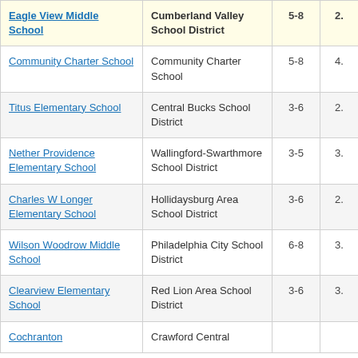| School | District | Grades |  |
| --- | --- | --- | --- |
| Eagle View Middle School | Cumberland Valley School District | 5-8 | 2. |
| Community Charter School | Community Charter School | 5-8 | 4. |
| Titus Elementary School | Central Bucks School District | 3-6 | 2. |
| Nether Providence Elementary School | Wallingford-Swarthmore School District | 3-5 | 3. |
| Charles W Longer Elementary School | Hollidaysburg Area School District | 3-6 | 2. |
| Wilson Woodrow Middle School | Philadelphia City School District | 6-8 | 3. |
| Clearview Elementary School | Red Lion Area School District | 3-6 | 3. |
| Cochranton | Crawford Central |  |  |